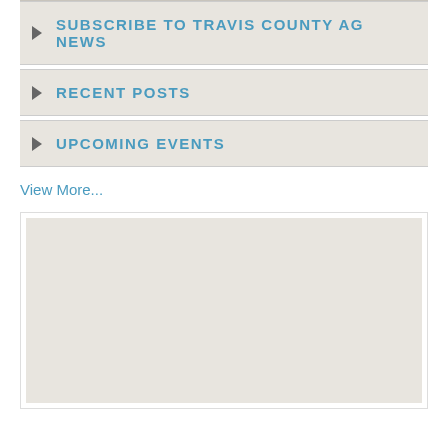SUBSCRIBE TO TRAVIS COUNTY AG NEWS
RECENT POSTS
UPCOMING EVENTS
View More...
[Figure (other): Map placeholder — light beige/gray empty map area inside a white bordered container]